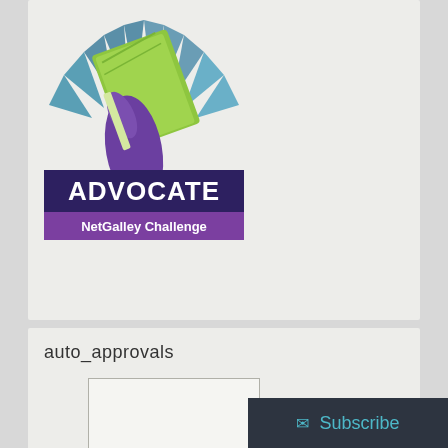[Figure (logo): Advocate NetGalley Challenge badge — purple hand holding a green book with rays, text 'ADVOCATE' in bold and 'NetGalley Challenge' below]
auto_approvals
[Figure (other): Empty placeholder image box for auto_approvals]
favorited_reviews_120
[Figure (other): Partially visible empty placeholder image box for favorited_reviews_120]